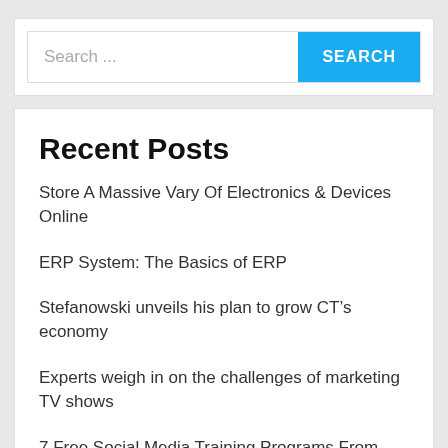[Figure (screenshot): Search bar with text input placeholder 'Search ...' and a blue 'SEARCH' button]
Recent Posts
Store A Massive Vary Of Electronics & Devices Online
ERP System: The Basics of ERP
Stefanowski unveils his plan to grow CT’s economy
Experts weigh in on the challenges of marketing TV shows
7 Free Social Media Training Programs From Top Platforms